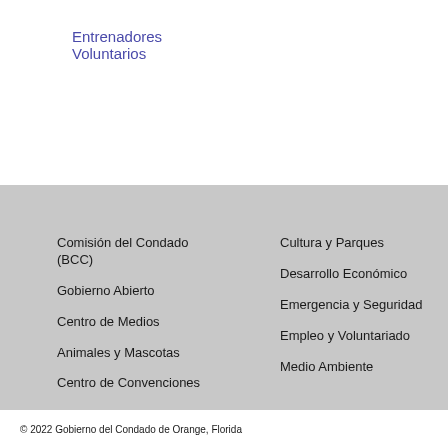Entrenadores Voluntarios
Comisión del Condado (BCC)
Gobierno Abierto
Centro de Medios
Animales y Mascotas
Centro de Convenciones
Cultura y Parques
Desarrollo Económico
Emergencia y Seguridad
Empleo y Voluntariado
Medio Ambiente
© 2022 Gobierno del Condado de Orange, Florida